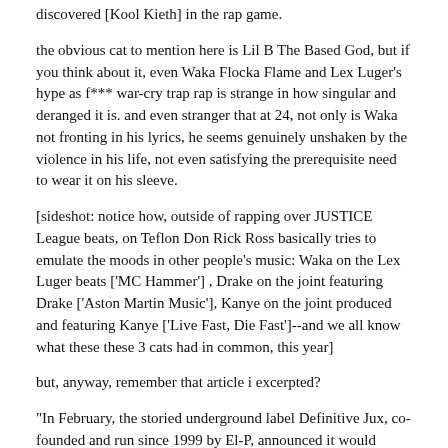discovered [Kool Kieth] in the rap game.
the obvious cat to mention here is Lil B The Based God, but if you think about it, even Waka Flocka Flame and Lex Luger's hype as f*** war-cry trap rap is strange in how singular and deranged it is. and even stranger that at 24, not only is Waka not fronting in his lyrics, he seems genuinely unshaken by the violence in his life, not even satisfying the prerequisite need to wear it on his sleeve.
[sideshot: notice how, outside of rapping over JUSTICE League beats, on Teflon Don Rick Ross basically tries to emulate the moods in other people's music: Waka on the Lex Luger beats ['MC Hammer'] , Drake on the joint featuring Drake ['Aston Martin Music'], Kanye on the joint produced and featuring Kanye ['Live Fast, Die Fast']--and we all know what these these 3 cats had in common, this year]
but, anyway, remember that article i excerpted?
"In February, the storied underground label Definitive Jux, co-founded and run since 1999 by El-P, announced it would temporarily shutter operations. The news confirmed something that has been obvious to many for years: Underground rap is dead. Or is, at least, not a useful way of describing music anymore. In its stead, a different brand of homespun rappers have taken hold."
"From the enduring ICP to the insurgent Lil B, Soulja Boy and their youthful contemporaries-- Danny Brown, Wiz Khalifa, Curren$y, Big K.R.I.T., Mac Miller, and others-- underground rap is changing every